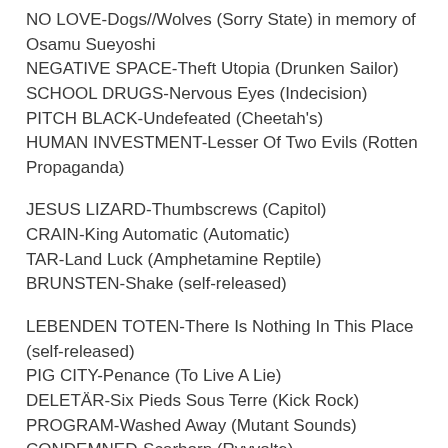NO LOVE-Dogs//Wolves (Sorry State) in memory of Osamu Sueyoshi
NEGATIVE SPACE-Theft Utopia (Drunken Sailor)
SCHOOL DRUGS-Nervous Eyes (Indecision)
PITCH BLACK-Undefeated (Cheetah's)
HUMAN INVESTMENT-Lesser Of Two Evils (Rotten Propaganda)
JESUS LIZARD-Thumbscrews (Capitol)
CRAIN-King Automatic (Automatic)
TAR-Land Luck (Amphetamine Reptile)
BRUNSTEN-Shake (self-released)
LEBENDEN TOTEN-There Is Nothing In This Place (self-released)
PIG CITY-Penance (To Live A Lie)
DELETÄR-Six Pieds Sous Terre (Kick Rock)
PROGRAM-Washed Away (Mutant Sounds)
CONDEMNED-Scarborn (Ryvvolte)
GELD-Infrasound (Iron Lung)
TRACK 4